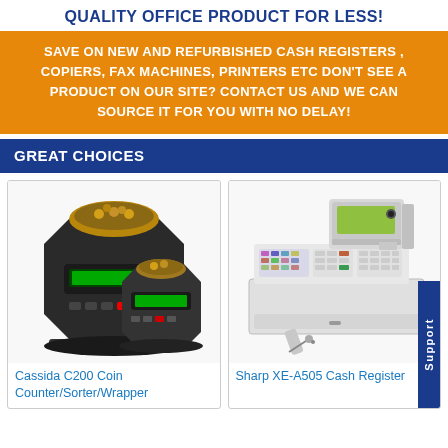QUALITY OFFICE PRODUCT FOR LESS!
SAVE ON NEW AND REFURBISHED CASH REGISTERS , COPIERS, FAX MACHINES, PRINTERS ETC DON'T SEE A PRODUCT ON OUR SITE? CONTACT US AND WE CAN SOURCE IT FOR YOU WITH NO DELAY!
GREAT CHOICES
[Figure (photo): Cassida C200 Coin Counter/Sorter/Wrapper machine — two black coin sorting devices shown side by side with coins visible]
Cassida C200 Coin Counter/Sorter/Wrapper
[Figure (photo): Sharp XE-A505 Cash Register — white/grey cash register with keyboard, display, and a barcode scanner]
Sharp XE-A505 Cash Register